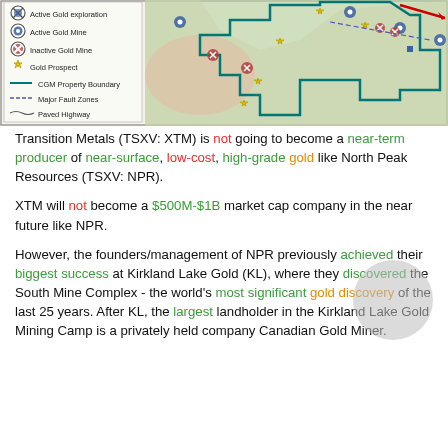[Figure (map): A map showing gold exploration properties in the Kirkland Lake area with legend items: Active Gold Exploration, Active Gold Mine, Inactive Gold Mine, Gold Prospect, CGM Property Boundary (teal outline), Major Fault Zones (dashed blue), Paved Highway (wavy line). The map shows a teal boundary polygon over green/pink terrain with various mine and prospect markers.]
Transition Metals (TSXV: XTM) is not going to become a near-term producer of near-surface, low-cost, high-grade gold like North Peak Resources (TSXV: NPR).
XTM will not become a $500M-$1B market cap company in the near future like NPR.
However, the founders/management of NPR previously achieved their biggest success at Kirkland Lake Gold (KL), where they discovered the South Mine Complex - the world's most significant gold discovery of the last 25 years. After KL, the largest landholder in the Kirkland Lake Gold Mining Camp is a privately held company Canadian Gold Miner.